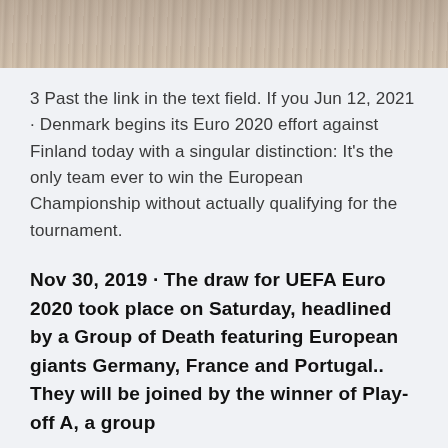[Figure (photo): Partial photo showing wooden surface texture, cropped at top of page]
3 Past the link in the text field. If you Jun 12, 2021 · Denmark begins its Euro 2020 effort against Finland today with a singular distinction: It's the only team ever to win the European Championship without actually qualifying for the tournament.
Nov 30, 2019 · The draw for UEFA Euro 2020 took place on Saturday, headlined by a Group of Death featuring European giants Germany, France and Portugal.. They will be joined by the winner of Play-off A, a group